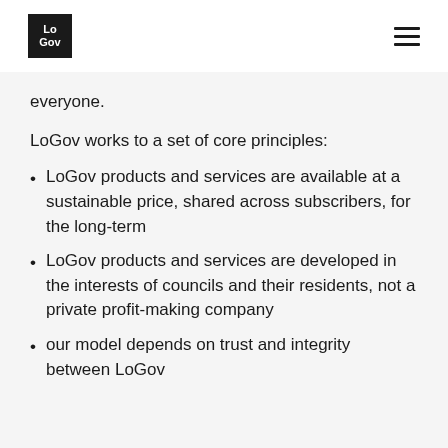LoGov
everyone.
LoGov works to a set of core principles:
LoGov products and services are available at a sustainable price, shared across subscribers, for the long-term
LoGov products and services are developed in the interests of councils and their residents, not a private profit-making company
our model depends on trust and integrity between LoGov